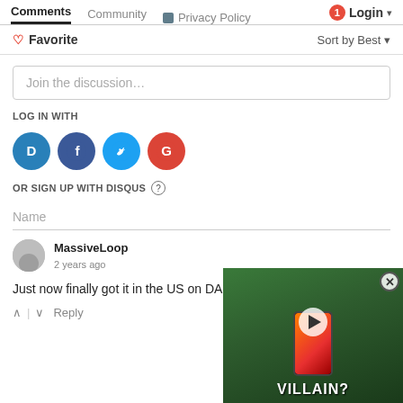Comments   Community   Privacy Policy   Login
♡ Favorite   Sort by Best
Join the discussion…
LOG IN WITH
[Figure (screenshot): Social login icons: Disqus (blue), Facebook (dark blue), Twitter (light blue), Google (red)]
OR SIGN UP WITH DISQUS ?
Name
MassiveLoop
2 years ago
Just now finally got it in the US on DARK MODE!!
↑ | ↓   Reply
[Figure (screenshot): Floating video overlay showing a smartphone and text 'VILLAIN?' on a green background with a play button and close button]